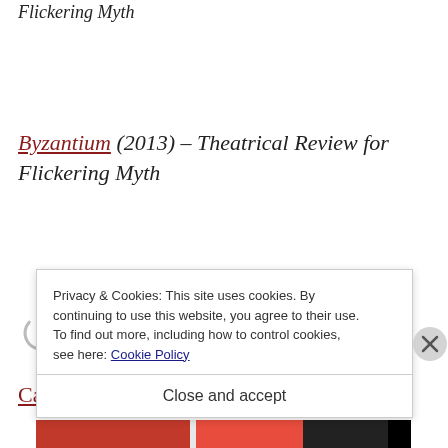Flickering Myth
Byzantium (2013) – Theatrical Review for Flickering Myth
[Figure (other): Loading spinner (letter C shape, gray arc)]
Catch me If You Can* (2002)
Privacy & Cookies: This site uses cookies. By continuing to use this website, you agree to their use. To find out more, including how to control cookies, see here: Cookie Policy
Close and accept